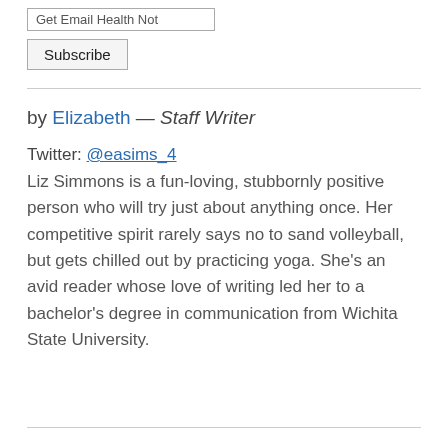Get Email Health Not [input field]
Subscribe [button]
by Elizabeth — Staff Writer
Twitter: @easims_4
Liz Simmons is a fun-loving, stubbornly positive person who will try just about anything once. Her competitive spirit rarely says no to sand volleyball, but gets chilled out by practicing yoga. She's an avid reader whose love of writing led her to a bachelor's degree in communication from Wichita State University.